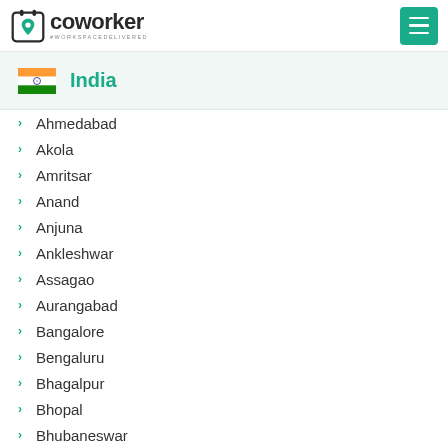coworker — #WORKSPACEDELIVERED
India
Ahmedabad
Akola
Amritsar
Anand
Anjuna
Ankleshwar
Assagao
Aurangabad
Bangalore
Bengaluru
Bhagalpur
Bhopal
Bhubaneswar